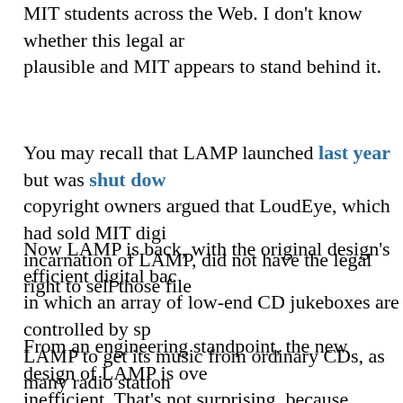MIT students across the Web. I don't know whether this legal argument is plausible and MIT appears to stand behind it.
You may recall that LAMP launched last year but was shut down copyright owners argued that LoudEye, which had sold MIT digi incarnation of LAMP, did not have the legal right to sell those fil
Now LAMP is back, with the original design's efficient digital bac in which an array of low-end CD jukeboxes are controlled by sp LAMP to get its music from ordinary CDs, as many radio station
From an engineering standpoint, the new design of LAMP is ove inefficient. That's not surprising, because lawyers must have ha
LAMP is a great example of regulatory arbitrage – the adoption in order to shift from one legal or regulatory regime to another. T rules for radio stations and another set for webcasters. LAMP tr TV system, rather than the more efficient Internet system, in ord side of the line. There's one set of rules for direct access to digi